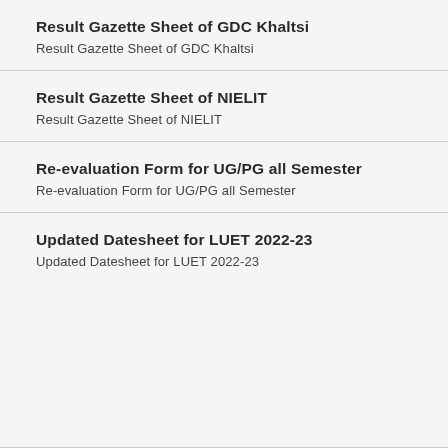Result Gazette Sheet of GDC Khaltsi
Result Gazette Sheet of GDC Khaltsi
Result Gazette Sheet of NIELIT
Result Gazette Sheet of NIELIT
Re-evaluation Form for UG/PG all Semester
Re-evaluation Form for UG/PG all Semester
Updated Datesheet for LUET 2022-23
Updated Datesheet for LUET 2022-23